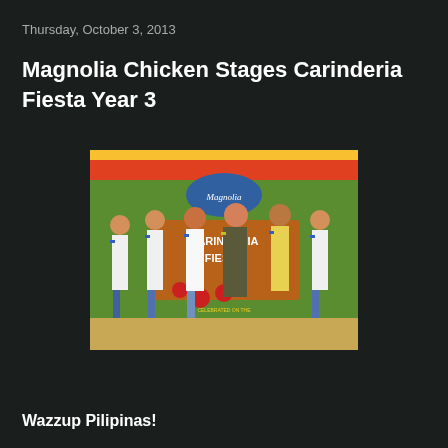Thursday, October 3, 2013
Magnolia Chicken Stages Carinderia Fiesta Year 3
[Figure (photo): Group photo of six women wearing sashes standing in front of a Magnolia Carinderia Fiesta event backdrop with colorful decorations]
Wazzup Pilipinas!